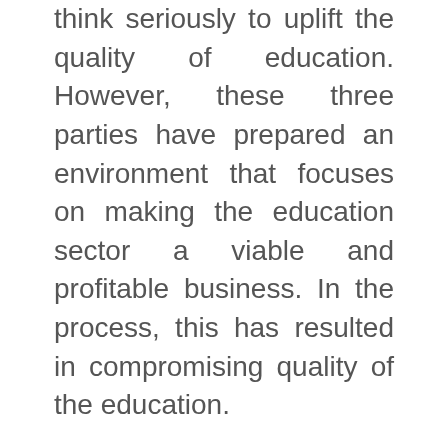think seriously to uplift the quality of education. However, these three parties have prepared an environment that focuses on making the education sector a viable and profitable business. In the process, this has resulted in compromising quality of the education.
For instance, our slogan “quality education for all” is limited only in rhetoric. Because only those who can afford can get admission in the courses that they want to pursue, which is against the main essence of the